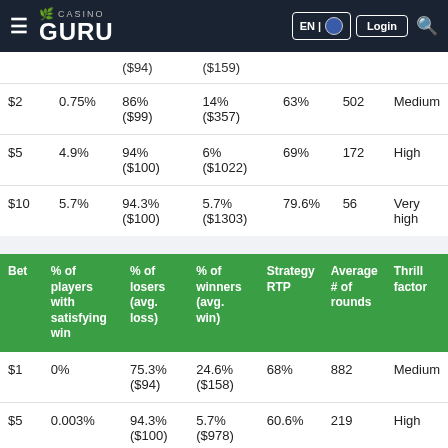Casino Guru | EN | Login
| Bet | % of players with satisfying win | % of losers (avg. loss) | % of winners (avg. win) | Strategy RTP | Average # of rounds | Thrill factor |
| --- | --- | --- | --- | --- | --- | --- |
|  |  | ($94) | ($159) |  |  |  |
| $2 | 0.75% | 86% ($99) | 14% ($357) | 63% | 502 | Medium |
| $5 | 4.9% | 94% ($100) | 6% ($1022) | 69% | 172 | High |
| $10 | 5.7% | 94.3% ($100) | 5.7% ($1303) | 79.6% | 56 | Very high |
| Bet | % of players with satisfying win | % of losers (avg. loss) | % of winners (avg. win) | Strategy RTP | Average # of rounds | Thrill factor |
| --- | --- | --- | --- | --- | --- | --- |
| $1 | 0% | 75.3% ($94) | 24.6% ($158) | 68% | 882 | Medium |
| $5 | 0.003% | 94.3% ($100) | 5.7% ($978) | 60.6% | 219 | High |